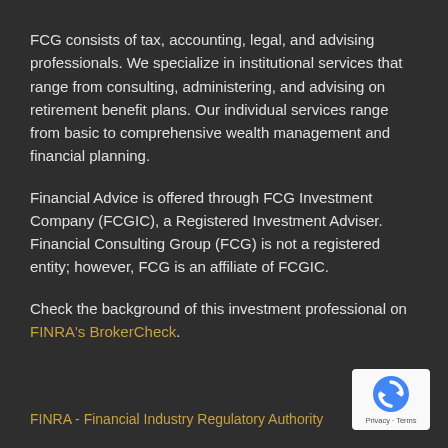FCG consists of tax, accounting, legal, and advising professionals. We specialize in institutional services that range from consulting, administering, and advising on retirement benefit plans. Our individual services range from basic to comprehensive wealth management and financial planning.
Financial Advice is offered through FCG Investment Company (FCGIC), a Registered Investment Adviser. Financial Consulting Group (FCG) is not a registered entity; however, FCG is an affiliate of FCGIC.
Check the background of this investment professional on FINRA's BrokerCheck.
FINRA - Financial Industry Regulatory Authority
[Figure (logo): Google reCAPTCHA badge with recycling-style arrow icon and Privacy - Terms text]